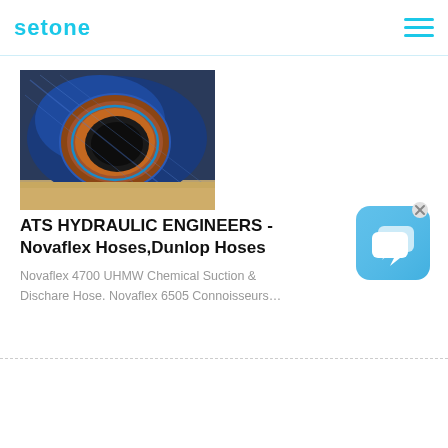setone
[Figure (photo): Close-up photo of a blue hydraulic hose end showing coiled blue hose with inner copper/orange lining on sandy ground]
ATS HYDRAULIC ENGINEERS - Novaflex Hoses,Dunlop Hoses
Novaflex 4700 UHMW Chemical Suction & Dischare Hose. Novaflex 6505 Connoisseurs…
[Figure (screenshot): Blue rounded square chat widget icon with speech bubble icon and an X close button]